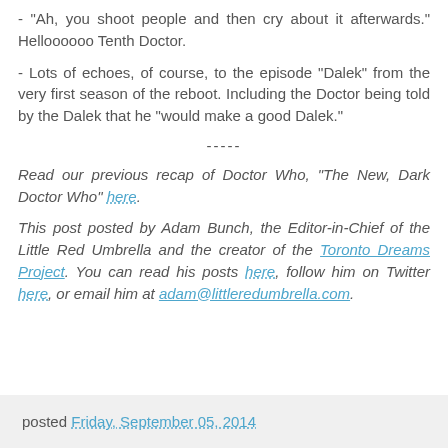- "Ah, you shoot people and then cry about it afterwards." Helloooooo Tenth Doctor.
- Lots of echoes, of course, to the episode "Dalek" from the very first season of the reboot. Including the Doctor being told by the Dalek that he "would make a good Dalek."
-----
Read our previous recap of Doctor Who, "The New, Dark Doctor Who" here.
This post posted by Adam Bunch, the Editor-in-Chief of the Little Red Umbrella and the creator of the Toronto Dreams Project. You can read his posts here, follow him on Twitter here, or email him at adam@littleredumbrella.com.
posted Friday, September 05, 2014